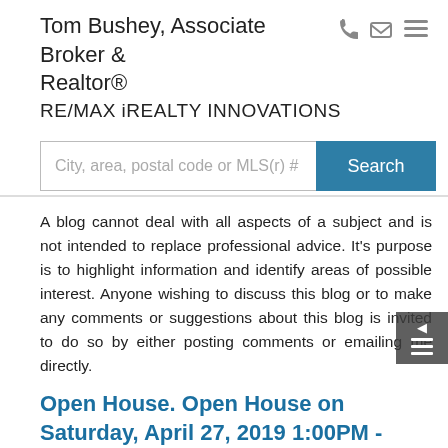Tom Bushey, Associate Broker & Realtor®
RE/MAX iREALTY INNOVATIONS
City, area, postal code or MLS(r) #
Search
A blog cannot deal with all aspects of a subject and is not intended to replace professional advice. It's purpose is to highlight information and identify areas of possible interest. Anyone wishing to discuss this blog or to make any comments or suggestions about this blog is invited to do so by either posting comments or emailing me directly.
Open House. Open House on Saturday, April 27, 2019 1:00PM - 4:00PM